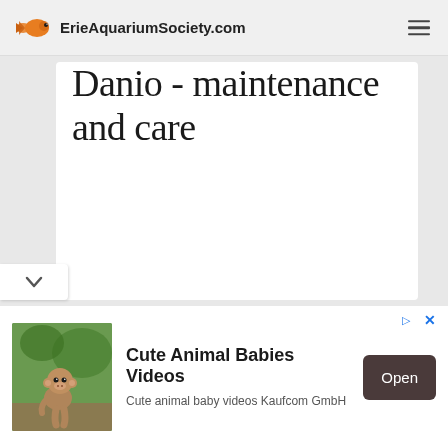ErieAquariumSociety.com
Danio - maintenance and care
[Figure (screenshot): Advertisement banner: Cute Animal Babies Videos — Cute animal baby videos Kaufcom GmbH, with Open button]